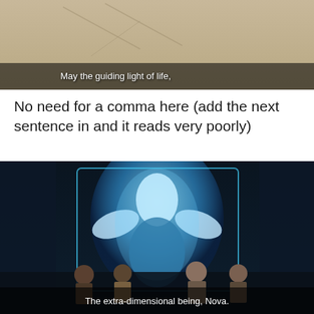[Figure (screenshot): Anime screenshot with tan/beige background showing abstract line shapes, with subtitle text 'May the guiding light of life,']
No need for a comma here (add the next sentence in and it reads very poorly)
[Figure (screenshot): Anime screenshot showing a glowing blue extra-dimensional entity/robot being observed by several anime characters in a dark room, with subtitle text 'The extra-dimensional being, Nova.']